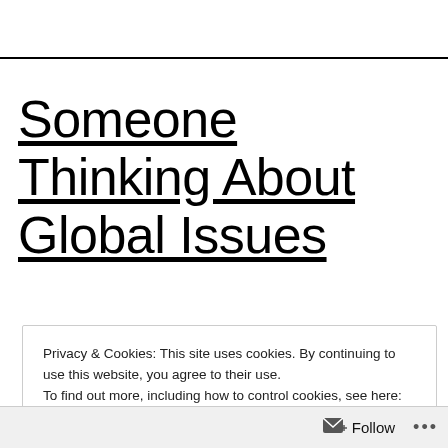Someone Thinking About Global Issues
Privacy & Cookies: This site uses cookies. By continuing to use this website, you agree to their use.
To find out more, including how to control cookies, see here: Cookie Policy
Close and accept
Follow •••